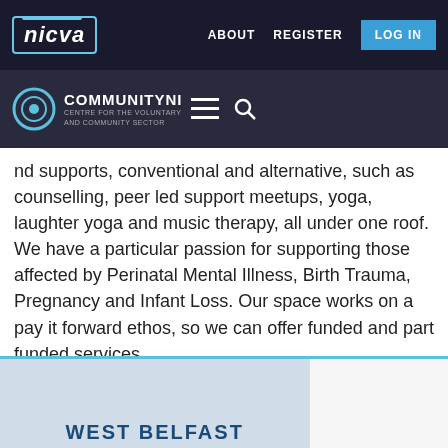nicva | ABOUT  REGISTER  LOG IN
COMMUNITYNI
nd supports, conventional and alternative, such as counselling, peer led support meetups, yoga, laughter yoga and music therapy, all under one roof. We have a particular passion for supporting those affected by Perinatal Mental Illness, Birth Trauma, Pregnancy and Infant Loss. Our space works on a pay it forward ethos, so we can offer funded and part funded services.
www.centredsoul.co.uk
[Figure (screenshot): West Belfast logo/sign at bottom of page]